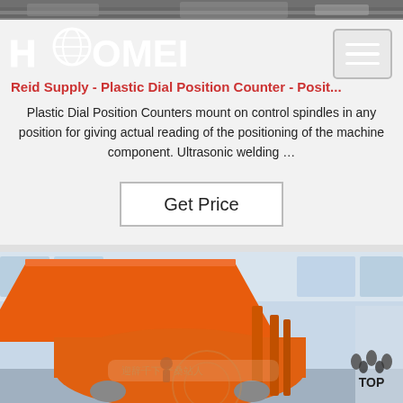[Figure (screenshot): Haomei company logo in white text on transparent background with globe icon]
Reid Supply - Plastic Dial Position Counter - Posit...
Plastic Dial Position Counters mount on control spindles in any position for giving actual reading of the positioning of the machine component. Ultrasonic welding ...
Get Price
[Figure (photo): Orange industrial concrete mixer machine photographed in a factory/warehouse setting with Chinese text label visible on the machine body]